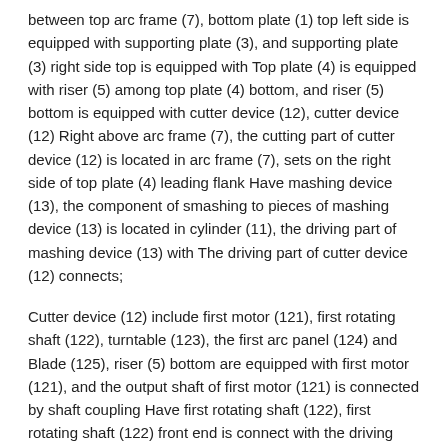between top arc frame (7), bottom plate (1) top left side is equipped with supporting plate (3), and supporting plate (3) right side top is equipped with Top plate (4) is equipped with riser (5) among top plate (4) bottom, and riser (5) bottom is equipped with cutter device (12), cutter device (12) Right above arc frame (7), the cutting part of cutter device (12) is located in arc frame (7), sets on the right side of top plate (4) leading flank Have mashing device (13), the component of smashing to pieces of mashing device (13) is located in cylinder (11), the driving part of mashing device (13) with The driving part of cutter device (12) connects;
Cutter device (12) include first motor (121), first rotating shaft (122), turntable (123), the first arc panel (124) and Blade (125), riser (5) bottom are equipped with first motor (121), and the output shaft of first motor (121) is connected by shaft coupling Have first rotating shaft (122), first rotating shaft (122) front end is connect with the driving part of mashing device (13), in first rotating shaft (122) Portion is equipped with turntable (123), and turntable (123) lateral surface is equipped with the first arc panel (124), the cambered surface of the first arc panel (124) It is above evenly spaced that blade (125) are installed;
Mashing device (13) includes support plate (131), the second